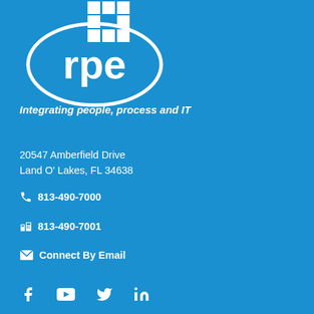[Figure (logo): RPE logo: white 'rpe' text inside a white ellipse with pixel/grid decoration squares at top, on blue background]
Integrating people, process and IT
20547 Amberfield Drive
Land O' Lakes, FL 34638
813-490-7000
813-490-7001
Connect By Email
[Figure (infographic): Social media icons: Facebook, YouTube, Twitter, LinkedIn — all white on blue background]